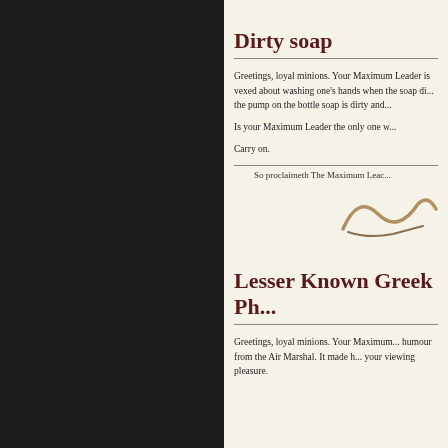Dirty soap
Greetings, loyal minions. Your Maximum Leader is vexed about washing one's hands when the soap di... the pump on the bottle soap is dirty and...
Is your Maximum Leader the only one w...
Carry on.
So proclaimeth The Maximum Leac...
[Figure (illustration): A partial cursive signature or decorative flourish in brown/tan color]
Lesser Known Greek Ph...
Greetings, loyal minions. Your Maximum... humour from the Air Marshal. It made h... your viewing pleasure.